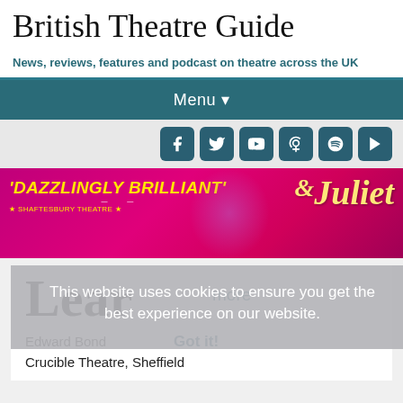British Theatre Guide
News, reviews, features and podcast on theatre across the UK
Menu
[Figure (screenshot): Social media icons: Facebook, Twitter, YouTube, Podcast, Spotify, Google Play]
[Figure (photo): & Juliet musical advertisement banner — 'DAZZLINGLY BRILLIANT' at Shaftesbury Theatre, with performer and & Juliet logo in yellow script on pink/magenta background]
This website uses cookies to ensure you get the best experience on our website.
Lear
more
Edward Bond
Crucible Theatre, Sheffield
Got it!